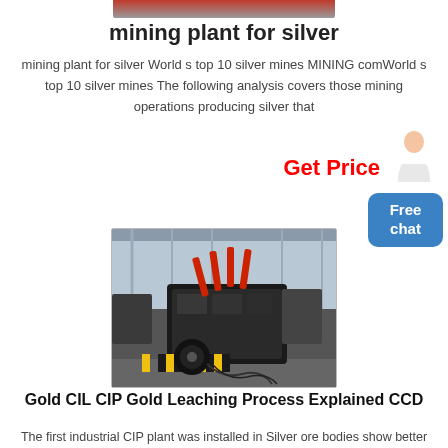[Figure (photo): Top partial image of red mining machinery, cropped at top]
mining plant for silver
mining plant for silver World s top 10 silver mines MINING comWorld s top 10 silver mines The following analysis covers those mining operations producing silver that
Get Price
[Figure (photo): Industrial mining crusher/processing machine in a large factory hall, dark heavy machinery with red accents and yellow safety stripes, shot indoors]
Gold CIL CIP Gold Leaching Process Explained CCD
The first industrial CIP plant was installed in Silver ore bodies show better economics with agitated Checkout our Mining